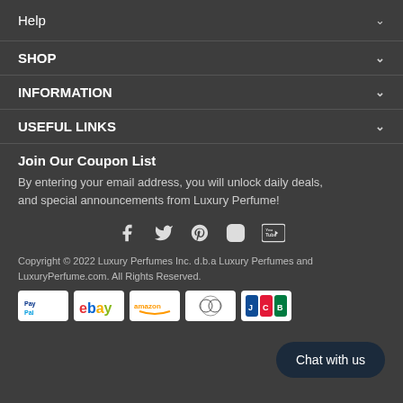Help
SHOP
INFORMATION
USEFUL LINKS
Join Our Coupon List
By entering your email address, you will unlock daily deals, and special announcements from Luxury Perfume!
[Figure (infographic): Social media icons: Facebook, Twitter, Pinterest, Instagram, YouTube]
Copyright © 2022 Luxury Perfumes Inc. d.b.a Luxury Perfumes and LuxuryPerfume.com. All Rights Reserved.
[Figure (infographic): Payment method logos: PayPal, eBay, Amazon, Diners Club, JCB]
Chat with us